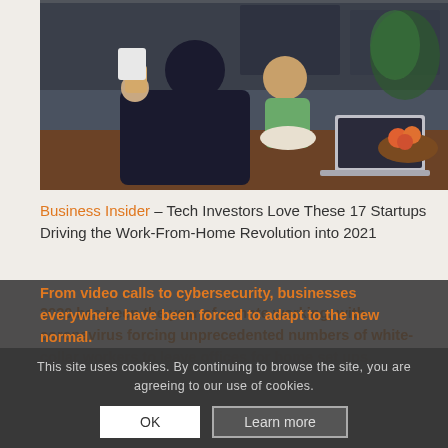[Figure (photo): A parent sitting at a kitchen table working on a laptop while holding a young child. A bowl of fruit is visible on the table. The scene depicts working from home.]
Business Insider – Tech Investors Love These 17 Startups Driving the Work-From-Home Revolution into 2021
2020 has been the year of remote working, with coronavirus forcing unprecedented numbers of white-collar workers to leave offices for home set ups.
From video calls to cybersecurity, businesses everywhere have been forced to adapt to the new normal.
This site uses cookies. By continuing to browse the site, you are agreeing to our use of cookies.